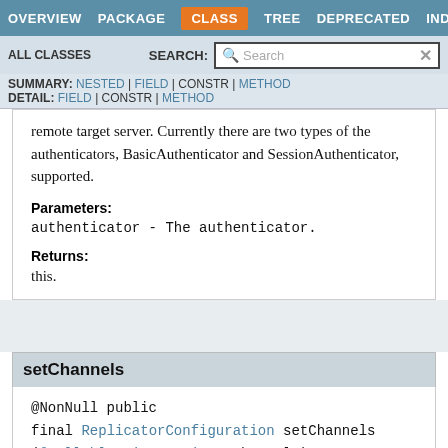OVERVIEW  PACKAGE  CLASS  TREE  DEPRECATED  INDEX
ALL CLASSES  SEARCH:
SUMMARY: NESTED | FIELD | CONSTR | METHOD  DETAIL: FIELD | CONSTR | METHOD
remote target server. Currently there are two types of the authenticators, BasicAuthenticator and SessionAuthenticator, supported.
Parameters:
authenticator - The authenticator.
Returns:
this.
setChannels
@NonNull public final ReplicatorConfiguration setChannels(@Nullable List<String> channels)